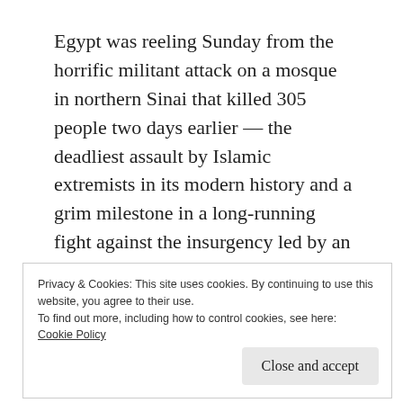Egypt was reeling Sunday from the horrific militant attack on a mosque in northern Sinai that killed 305 people two days earlier — the deadliest assault by Islamic extremists in its modern history and a grim milestone in a long-running fight against the insurgency led by an Islamic State affiliate.
[Figure (photo): Interior photo of a mosque showing chandeliers hanging from the ceiling, split into two panels]
Privacy & Cookies: This site uses cookies. By continuing to use this website, you agree to their use.
To find out more, including how to control cookies, see here: Cookie Policy
Close and accept